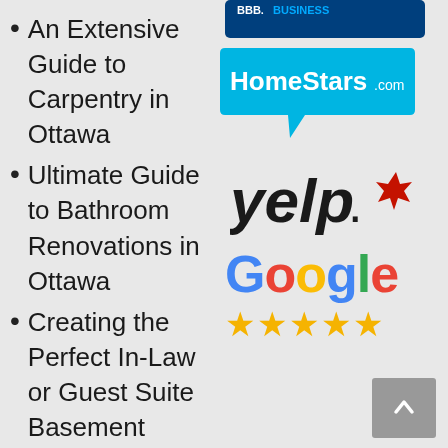An Extensive Guide to Carpentry in Ottawa
Ultimate Guide to Bathroom Renovations in Ottawa
Creating the Perfect In-Law or Guest Suite Basement
[Figure (logo): BBB (Better Business Bureau) logo - partial, showing 'BBB. BUSINESS' text on dark background]
[Figure (logo): HomeStars.com logo - cyan speech bubble with white bold text]
[Figure (logo): Yelp logo - black italic text with red burst/flower icon]
[Figure (logo): Google logo with 5 gold stars below it]